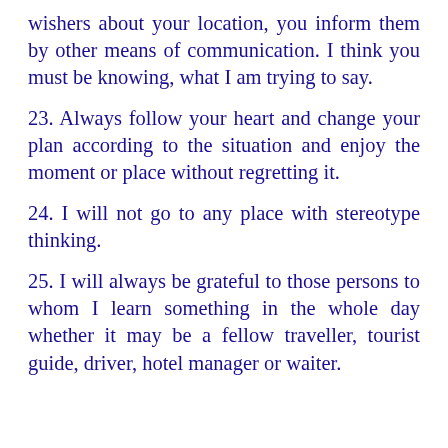wishers about your location, you inform them by other means of communication. I think you must be knowing, what I am trying to say.
23. Always follow your heart and change your plan according to the situation and enjoy the moment or place without regretting it.
24. I will not go to any place with stereotype thinking.
25. I will always be grateful to those persons to whom I learn something in the whole day whether it may be a fellow traveller, tourist guide, driver, hotel manager or waiter.